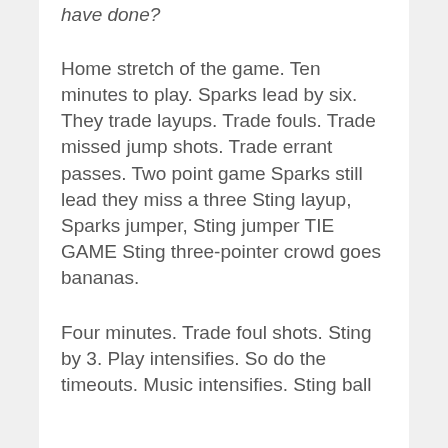have done?
Home stretch of the game. Ten minutes to play. Sparks lead by six. They trade layups. Trade fouls. Trade missed jump shots. Trade errant passes. Two point game Sparks still lead they miss a three Sting layup, Sparks jumper, Sting jumper TIE GAME Sting three-pointer crowd goes bananas.
Four minutes. Trade foul shots. Sting by 3. Play intensifies. So do the timeouts. Music intensifies. Sting ball